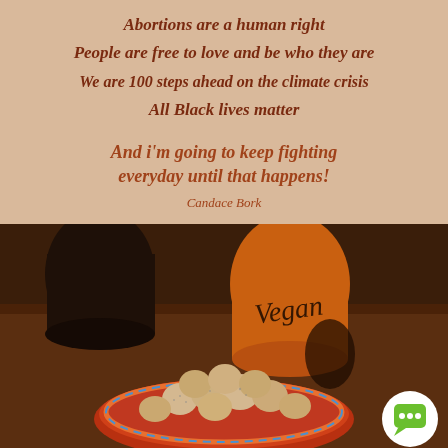Abortions are a human right
People are free to love and be who they are
We are 100 steps ahead on the climate crisis
All Black lives matter
And i'm going to keep fighting everyday until that happens!
Candace Bork
[Figure (photo): Photo of an orange vegan-branded pitcher/vase with the word 'Vegan' written in script, placed on a wooden table next to a dark pot. In the foreground is a colorful plate with round powdered/sugar-coated food items. A white circular chat icon with a green speech bubble appears in the lower right corner.]